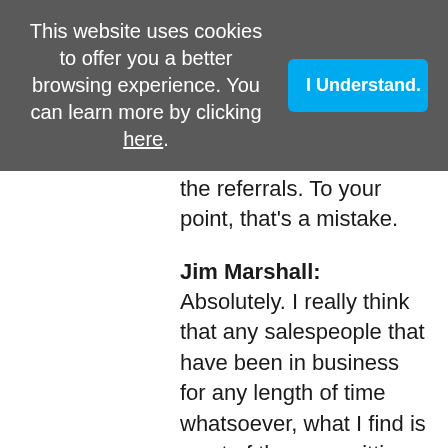This website uses cookies to offer you a better browsing experience. You can learn more by clicking here.
the referrals. To your point, that's a mistake.
Jim Marshall:  Absolutely. I really think that any salespeople that have been in business for any length of time whatsoever, what I find is most of them are sitting on a gold mine and they just don't realize it or they don't take the time to appreciate it. That is either their current